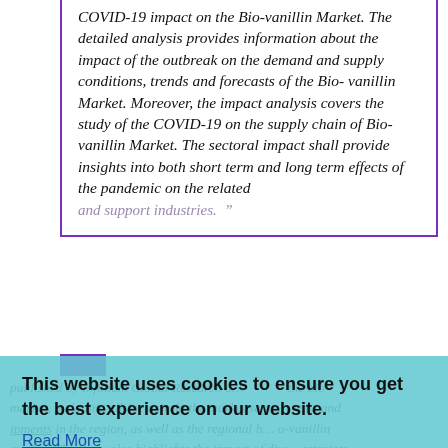COVID-19 impact on the Bio-vanillin Market. The detailed analysis provides information about the impact of the outbreak on the demand and supply conditions, trends and forecasts of the Bio-vanillin Market. Moreover, the impact analysis covers the study of the COVID-19 on the supply chain of Bio-vanillin Market. The sectoral impact shall provide insights into both short term and long term effects of the pandemic on the related and support industries.
This website uses cookies to ensure you get the best experience on our website.
Read More
Got it!
published by Infinium Global Research o... the bio- market, including all-inclusively the market segments and ipments in the region, as well as the regional bio-vanillin market. The study also highlights the impact of diverse estraints, and macro indicators on the global and regional bio-vanillin